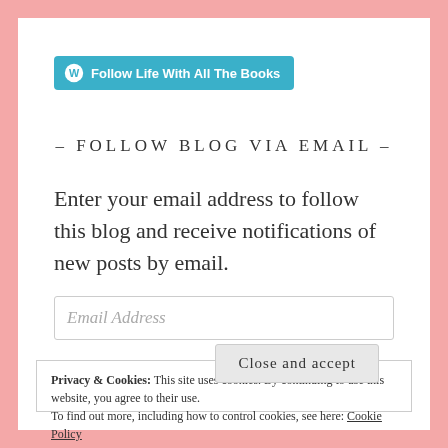[Figure (logo): WordPress follow button with blue background and WordPress logo icon, text: Follow Life With All The Books]
- FOLLOW BLOG VIA EMAIL -
Enter your email address to follow this blog and receive notifications of new posts by email.
Email Address
Privacy & Cookies: This site uses cookies. By continuing to use this website, you agree to their use.
To find out more, including how to control cookies, see here: Cookie Policy
Close and accept